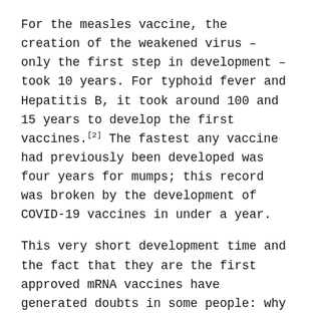For the measles vaccine, the creation of the weakened virus – only the first step in development – took 10 years. For typhoid fever and Hepatitis B, it took around 100 and 15 years to develop the first vaccines.[2] The fastest any vaccine had previously been developed was four years for mumps; this record was broken by the development of COVID-19 vaccines in under a year.
This very short development time and the fact that they are the first approved mRNA vaccines have generated doubts in some people: why was it so quick and is the new technology safe? However, there are several reasons why it was possible for the COVID-19 vaccines to be developed so fast without compromising safety:
Scientists have been working on developing mRNA vaccines for decades.[3] Improving stability and devising a method to get mRNA into cells was a long process but